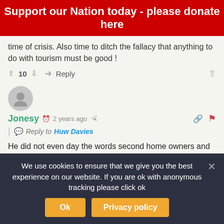Support our Nation today - please donate here
time of crisis. Also time to ditch the fallacy that anything to do with tourism must be good !
▲ 10 ▼  ➜ Reply  ▲
Jonesy  🕐 2 years ago  ◀  Reply to Huw Davies
He did not even day the words second home owners and tourists, yet Cumbria , Cornwall, Norfolk authorities have. What a spineless pointless man. Neil is right there, the local authorities have the authority to do it and
We use cookies to ensure that we give you the best experience on our website. If you are ok with anonymous tracking please click ok
Ok   Privacy policy